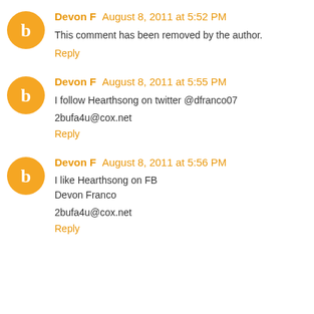Devon F  August 8, 2011 at 5:52 PM
This comment has been removed by the author.
Reply
Devon F  August 8, 2011 at 5:55 PM
I follow Hearthsong on twitter @dfranco07
2bufa4u@cox.net
Reply
Devon F  August 8, 2011 at 5:56 PM
I like Hearthsong on FB
Devon Franco
2bufa4u@cox.net
Reply